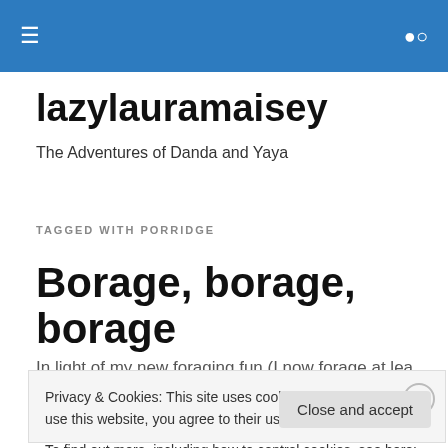lazylauramaisey – navigation bar
lazylauramaisey
The Adventures of Danda and Yaya
TAGGED WITH PORRIDGE
Borage, borage, borage
In light of my new foraging fun (I now forage at least once...
Privacy & Cookies: This site uses cookies. By continuing to use this website, you agree to their use.
To find out more, including how to control cookies, see here: Cookie Policy